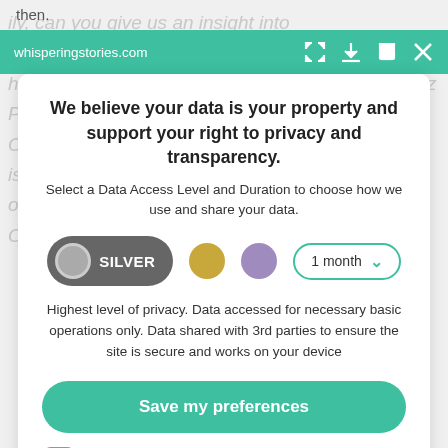then.
whisperingstories.com
We believe your data is your property and support your right to privacy and transparency.
Select a Data Access Level and Duration to choose how we use and share your data.
[Figure (infographic): Privacy level selector showing SILVER (dark grey pill button with grey circle), a gold circle, a purple circle, and a '1 month' dropdown with teal border]
Highest level of privacy. Data accessed for necessary basic operations only. Data shared with 3rd parties to ensure the site is secure and works on your device
Save my preferences
Customize
Privacy policy